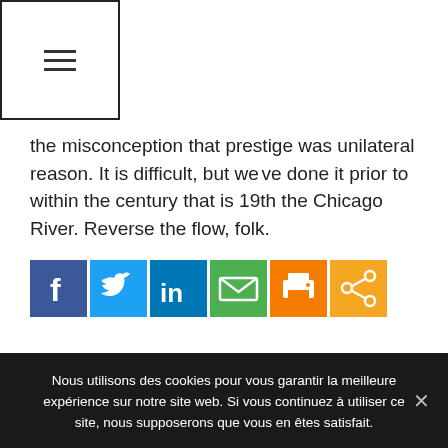[Figure (other): Hamburger menu icon inside a bordered box]
the misconception that prestige was unilateral reason. It is difficult, but we've done it prior to within the century that is 19th the Chicago River. Reverse the flow, folk.
[Figure (other): Social sharing icons: Facebook (blue), Twitter (blue), LinkedIn (blue), Email (green), Print (orange), Share (orange)]
← Movida Escorts render several of the most fascinating London Courtesans in the the town
Nous utilisons des cookies pour vous garantir la meilleure expérience sur notre site web. Si vous continuez à utiliser ce site, nous supposerons que vous en êtes satisfait.